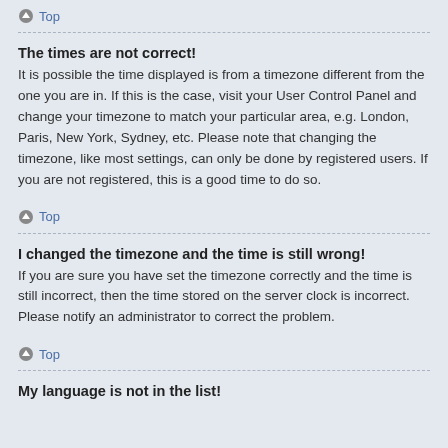Top
The times are not correct!
It is possible the time displayed is from a timezone different from the one you are in. If this is the case, visit your User Control Panel and change your timezone to match your particular area, e.g. London, Paris, New York, Sydney, etc. Please note that changing the timezone, like most settings, can only be done by registered users. If you are not registered, this is a good time to do so.
Top
I changed the timezone and the time is still wrong!
If you are sure you have set the timezone correctly and the time is still incorrect, then the time stored on the server clock is incorrect. Please notify an administrator to correct the problem.
Top
My language is not in the list!